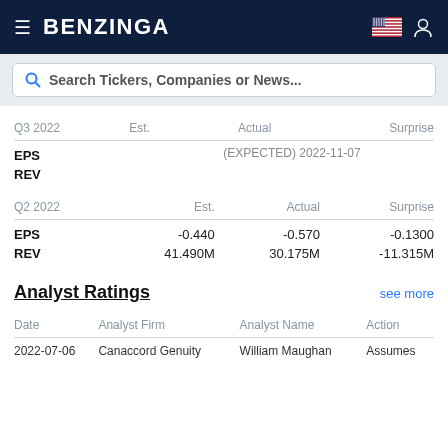BENZINGA
| Q3 2022 | Est. | Actual | Surprise |
| --- | --- | --- | --- |
| EPS |  | (EXPECTED) 2022-11-07 |  |
| REV |  |  |  |
| Q2 2022 | Est. | Actual | Surprise |
| --- | --- | --- | --- |
| EPS | -0.440 | -0.570 | -0.1300 |
| REV | 41.490M | 30.175M | -11.315M |
Analyst Ratings
| Date | Analyst Firm | Analyst Name | Action |
| --- | --- | --- | --- |
| 2022-07-06 | Canaccord Genuity | William Maughan | Assumes |